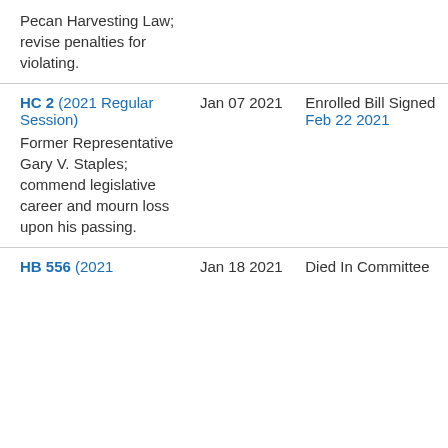| Bill | Date | Status |
| --- | --- | --- |
| Pecan Harvesting Law; revise penalties for violating. |  |  |
| HC 2 (2021 Regular Session)
Former Representative Gary V. Staples; commend legislative career and mourn loss upon his passing. | Jan 07 2021 | Enrolled Bill Signed
Feb 22 2021 |
| HB 556 (2021 | Jan 18 2021 | Died In Committee |